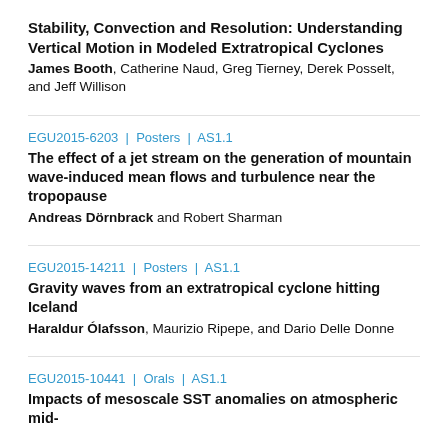Stability, Convection and Resolution: Understanding Vertical Motion in Modeled Extratropical Cyclones
James Booth, Catherine Naud, Greg Tierney, Derek Posselt, and Jeff Willison
EGU2015-6203 | Posters | AS1.1
The effect of a jet stream on the generation of mountain wave-induced mean flows and turbulence near the tropopause
Andreas Dörnbrack and Robert Sharman
EGU2015-14211 | Posters | AS1.1
Gravity waves from an extratropical cyclone hitting Iceland
Haraldur Ólafsson, Maurizio Ripepe, and Dario Delle Donne
EGU2015-10441 | Orals | AS1.1
Impacts of mesoscale SST anomalies on atmospheric mid-